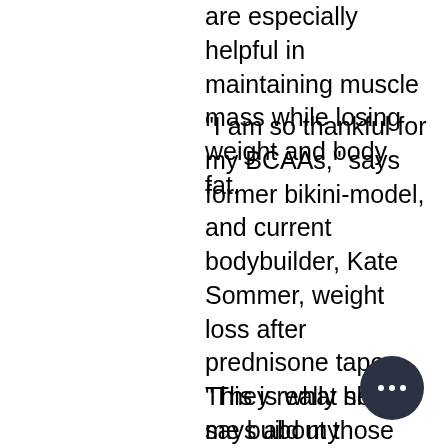are especially helpful in maintaining muscle mass while losing weight and body fat.
"I am so thankful for my BCAAs," says former bikini-model, and current bodybuilder, Kate Sommer, weight loss after prednisone taper. "They really helped me build my muscles quicker than I would have anticipated due to my genetics and my time of training." She also credits her BCAAs with helping her lose 20 pounds in the process, including 13 more pounds of body fat, prednisone apple belly. Her journey with protein has since led to further diet changes and a healthier lifestyle, while prednisone losing tapering weight.
This is what she says about those benefits, "The BCAAs are really a life saver. By doing these exercises with low weight and low calorie content, it feels like you're not starving yourself during weight while...